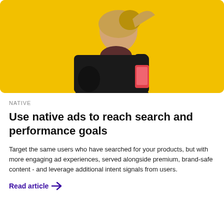[Figure (photo): Woman in black coat and scarf looking down at a red smartphone, against a bright yellow background.]
NATIVE
Use native ads to reach search and performance goals
Target the same users who have searched for your products, but with more engaging ad experiences, served alongside premium, brand-safe content - and leverage additional intent signals from users.
Read article →